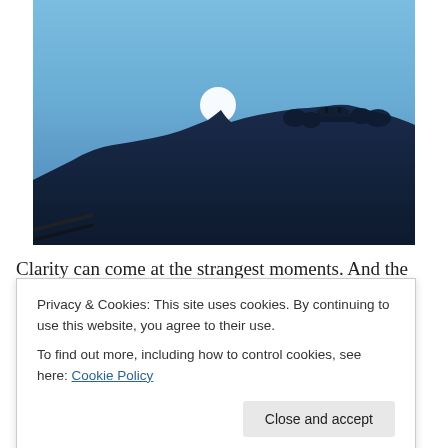[Figure (photo): A photograph of a hillside at dusk/twilight with a full moon rising above a rocky hill that has Asian-style architecture (temple/pagoda) at its peak. The sky is blue-grey and the hill is silhouetted in dark blue tones. A railing is visible in the lower left corner.]
Clarity can come at the strangest moments. And the
Privacy & Cookies: This site uses cookies. By continuing to use this website, you agree to their use.
To find out more, including how to control cookies, see here: Cookie Policy
being. Things that were complex and confusing become